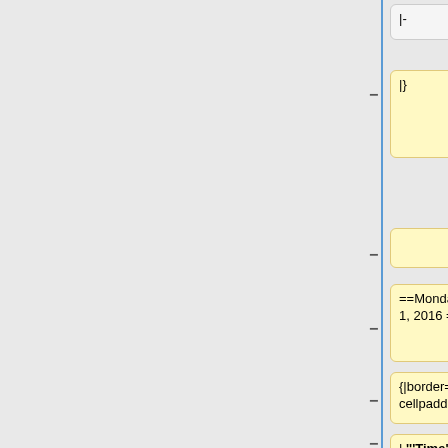|-
|-
|}
| 9:15 || Carl Schlichting (Head)  || TLS 366
==Monday, February 1, 2016 ==
{|border=1 cellpadding=8
| '''Time''' || '''Name''' || '''Room'''
|-
|-
| 8:00 am  ||  || Breakfast
|10:00  || Carlos Garcia-Robledo ||